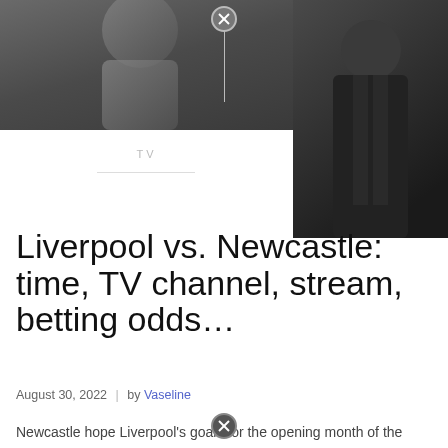[Figure (photo): Two people in dark clothing against a dark background, partially visible at top of page]
TV
Liverpool vs. Newcastle: time, TV channel, stream, betting odds…
August 30, 2022  |  by Vaseline
Newcastle hope Liverpool's goals for the opening month of the Premier League season came to an end on Saturday as Eddie Howe's side look to defend their unbeaten record of the new season at Anfield on Wednesday